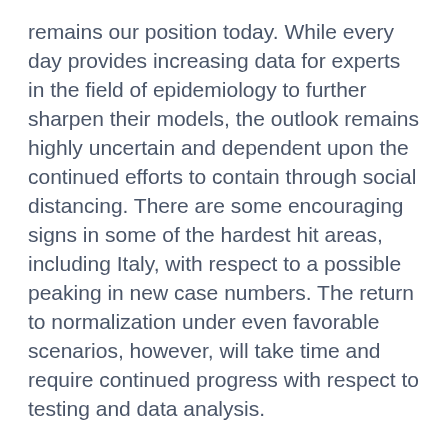remains our position today.  While every day provides increasing data for experts in the field of epidemiology to further sharpen their models, the outlook remains highly uncertain and dependent upon the continued efforts to contain through social distancing.  There are some encouraging signs in some of the hardest hit areas, including Italy, with respect to a possible peaking in new case numbers.  The return to normalization under even favorable scenarios, however, will take time and require continued progress with respect to testing and data analysis.

It is this uncertainty with respect to the